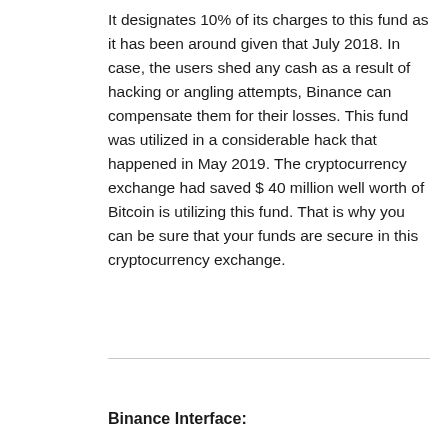It designates 10% of its charges to this fund as it has been around given that July 2018. In case, the users shed any cash as a result of hacking or angling attempts, Binance can compensate them for their losses. This fund was utilized in a considerable hack that happened in May 2019. The cryptocurrency exchange had saved $ 40 million well worth of Bitcoin is utilizing this fund. That is why you can be sure that your funds are secure in this cryptocurrency exchange.
Binance Interface: